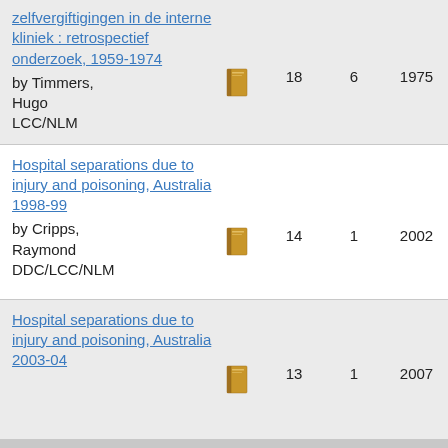| Title/Author/Classification | Icon | Count1 | Count2 | Year1 | Year2 |
| --- | --- | --- | --- | --- | --- |
| zelfvergiftigingen in de interne kliniek : retrospectief onderzoek, 1959-1974 / by Timmers, Hugo / LCC/NLM | [book icon] | 18 | 6 | 1975 | 1975 |
| Hospital separations due to injury and poisoning, Australia 1998-99 / by Cripps, Raymond / DDC/LCC/NLM | [book icon] | 14 | 1 | 2002 | 2002 |
| Hospital separations due to injury and poisoning, Australia 2003-04 | [book icon] | 13 | 1 | 2007 | 2007 |